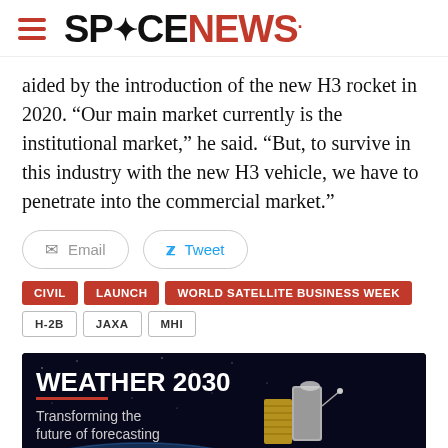SPACENEWS
aided by the introduction of the new H3 rocket in 2020. “Our main market currently is the institutional market,” he said. “But, to survive in this industry with the new H3 vehicle, we have to penetrate into the commercial market.”
Email  Tweet
CIVIL  LAUNCH  WORLD SATELLITE BUSINESS WEEK  H-2B  JAXA  MHI
[Figure (infographic): Advertisement banner with dark space background showing a satellite with text WEATHER 2030 and Transforming the future of forecasting]